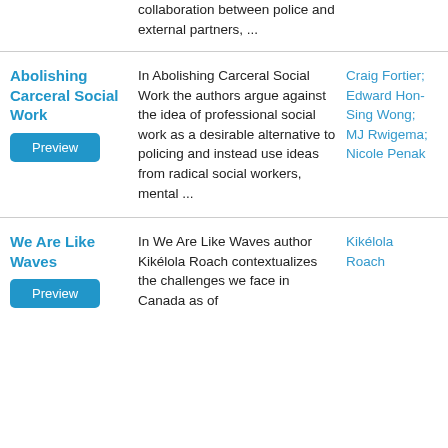collaboration between police and external partners, ...
Abolishing Carceral Social Work
In Abolishing Carceral Social Work the authors argue against the idea of professional social work as a desirable alternative to policing and instead use ideas from radical social workers, mental ...
Craig Fortier; Edward Hon-Sing Wong; MJ Rwigema; Nicole Penak
11
We Are Like Waves
In We Are Like Waves author Kikélola Roach contextualizes the challenges we face in Canada as of
Kikélola Roach
7